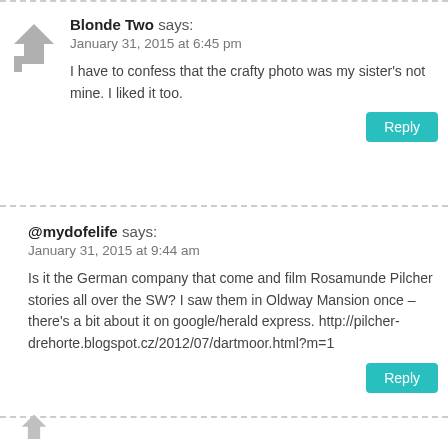Blonde Two says:
January 31, 2015 at 6:45 pm
I have to confess that the crafty photo was my sister's not mine. I liked it too.
Reply
@mydofelife says:
January 31, 2015 at 9:44 am
Is it the German company that come and film Rosamunde Pilcher stories all over the SW? I saw them in Oldway Mansion once – there's a bit about it on google/herald express. http://pilcher-drehorte.blogspot.cz/2012/07/dartmoor.html?m=1
Reply